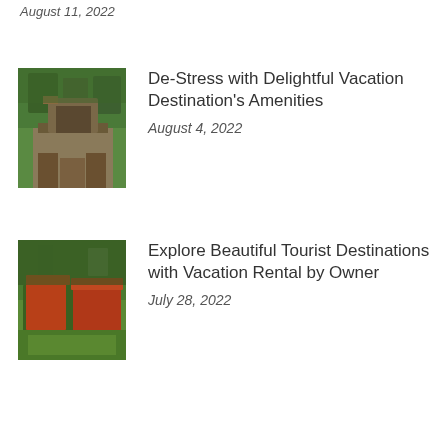August 11, 2022
[Figure (photo): Exterior photo of a wooden cabin/treehouse with stone chimney surrounded by trees]
De-Stress with Delightful Vacation Destination’s Amenities
August 4, 2022
[Figure (photo): Aerial view of red-roofed vacation rental buildings with green lawn]
Explore Beautiful Tourist Destinations with Vacation Rental by Owner
July 28, 2022